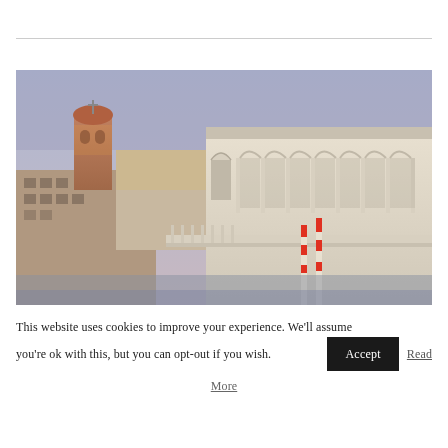[Figure (photo): Photograph of Venetian architecture at dusk/dawn showing the Rialto Bridge area with arched colonnades on the right, a baroque bell tower with cross in the background left, and striped gondola poles in the foreground. Soft purple-blue sky.]
This website uses cookies to improve your experience. We'll assume you're ok with this, but you can opt-out if you wish. Accept Read More